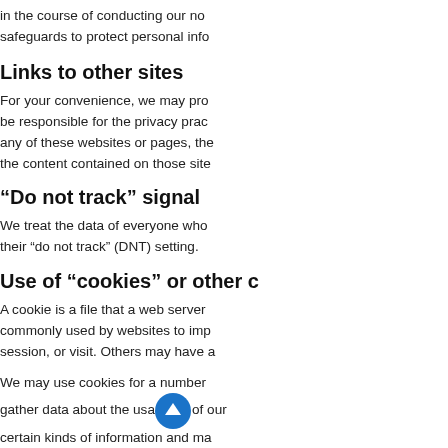in the course of conducting our no... safeguards to protect personal info...
Links to other sites
For your convenience, we may pro... be responsible for the privacy prac... any of these websites or pages, the... the content contained on those site...
“Do not track” signal
We treat the data of everyone who... their “do not track” (DNT) setting.
Use of “cookies” or other c...
A cookie is a file that a web server... commonly used by websites to imp... session, or visit. Others may have a...
We may use cookies for a number... gather data about the usage of our... certain kinds of information and ma... information every time you return to...